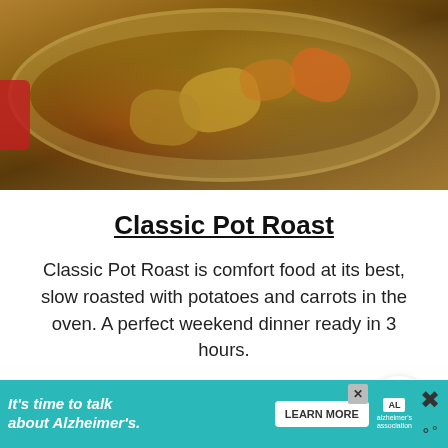[Figure (photo): Photo of a classic pot roast with potatoes and carrots in a Dutch oven/pot, viewed from above, with golden-brown crust visible.]
Classic Pot Roast
Classic Pot Roast is comfort food at its best, slow roasted with potatoes and carrots in the oven. A perfect weekend dinner ready in 3 hours.
[Figure (other): Green 'Check out this recipe' button with a circular heart/favorite icon button to the right.]
5/15
[Figure (photo): Thumbnail photo of another recipe dish with green vegetables and meat.]
[Figure (other): Dark blue circular search/magnifying glass icon button.]
It's time to talk about Alzheimer's.
LEARN MORE
alzheimer's association